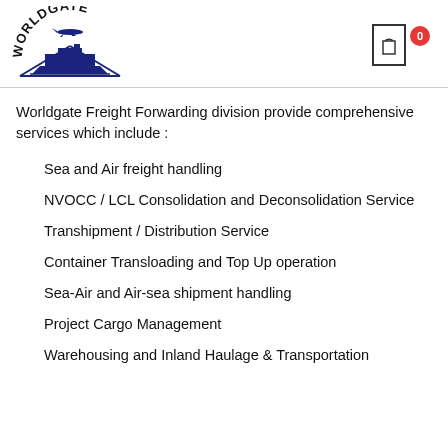[Figure (logo): Worldgate logo with blue airplane and ship graphic and text 'WORLDGATE' in arc]
Worldgate Freight Forwarding division provide comprehensive services which include :
Sea and Air freight handling
NVOCC / LCL Consolidation and Deconsolidation Service
Transhipment / Distribution Service
Container Transloading and Top Up operation
Sea-Air and Air-sea shipment handling
Project Cargo Management
Warehousing and Inland Haulage & Transportation